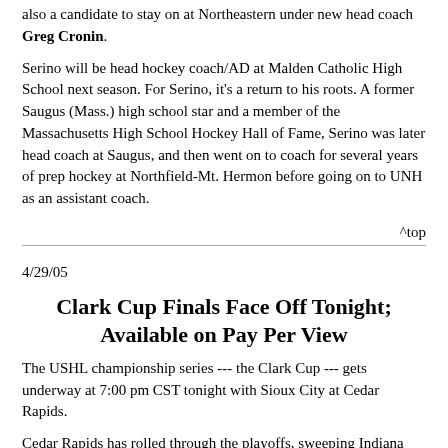also a candidate to stay on at Northeastern under new head coach Greg Cronin.
Serino will be head hockey coach/AD at Malden Catholic High School next season. For Serino, it’s a return to his roots. A former Saugus (Mass.) high school star and a member of the Massachusetts High School Hockey Hall of Fame, Serino was later head coach at Saugus, and then went on to coach for several years of prep hockey at Northfield-Mt. Hermon before going on to UNH as an assistant coach.
^top
4/29/05
Clark Cup Finals Face Off Tonight; Available on Pay Per View
The USHL championship series --- the Clark Cup --- gets underway at 7:00 pm CST tonight with Sioux City at Cedar Rapids.
Cedar Rapids has rolled through the playoffs, sweeping Indiana and Chicago on their way to the finals. Cedar Rapids also shared the